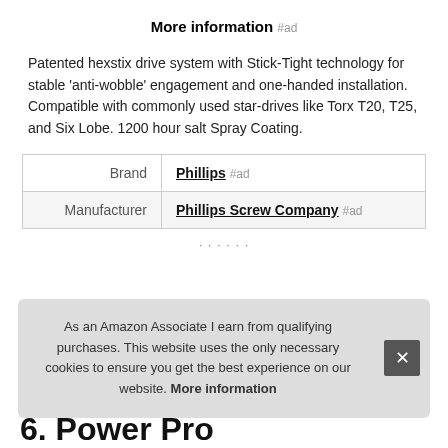More information #ad
Patented hexstix drive system with Stick-Tight technology for stable 'anti-wobble' engagement and one-handed installation. Compatible with commonly used star-drives like Torx T20, T25, and Six Lobe. 1200 hour salt Spray Coating.
|  |  |
| --- | --- |
| Brand | Phillips #ad |
| Manufacturer | Phillips Screw Company #ad |
As an Amazon Associate I earn from qualifying purchases. This website uses the only necessary cookies to ensure you get the best experience on our website. More information
6. Power Pro